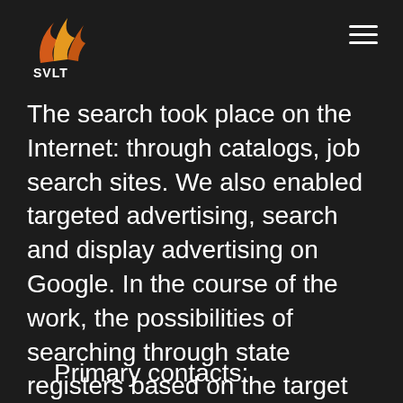[Figure (logo): SVLT logo with orange/yellow flame-like swoosh graphic above the text SVLT in white]
The search took place on the Internet: through catalogs, job search sites. We also enabled targeted advertising, search and display advertising on Google. In the course of the work, the possibilities of searching through state registers based on the target OKVED dealers were used, among other things. We took on the task of processing and qualifying leads. Each of the potential clients passed through our interaction funnel:
Primary contacts: